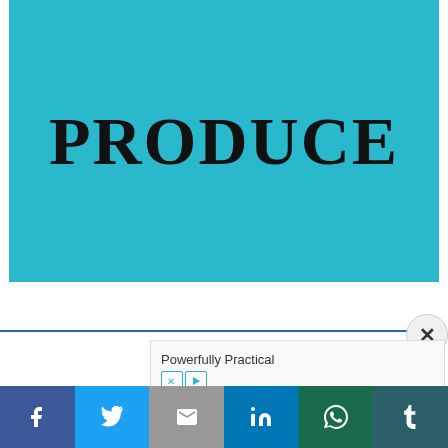[Figure (illustration): Teal/cyan background rectangle with the word PRODUCE in large bold black serif uppercase letters centered on it]
Powerfully Practical
[Figure (other): Social sharing bar with Facebook, Twitter, Gmail/Email, LinkedIn, WhatsApp, and Tumblr buttons]